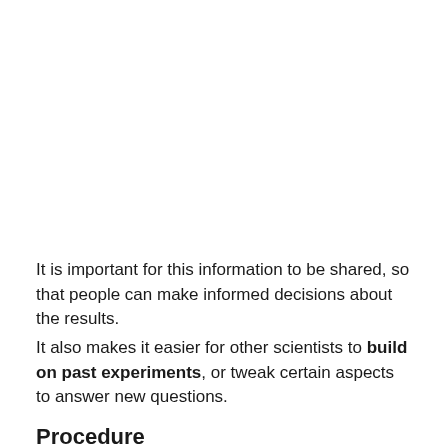It is important for this information to be shared, so that people can make informed decisions about the results.
It also makes it easier for other scientists to build on past experiments, or tweak certain aspects to answer new questions.
Procedure